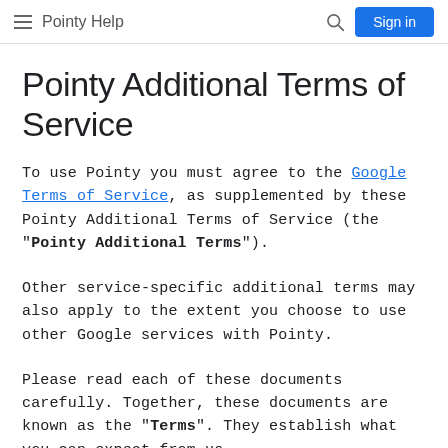Pointy Help | Sign in
Pointy Additional Terms of Service
To use Pointy you must agree to the Google Terms of Service, as supplemented by these Pointy Additional Terms of Service (the “Pointy Additional Terms”).
Other service-specific additional terms may also apply to the extent you choose to use other Google services with Pointy.
Please read each of these documents carefully. Together, these documents are known as the “Terms”. They establish what you can expect from us